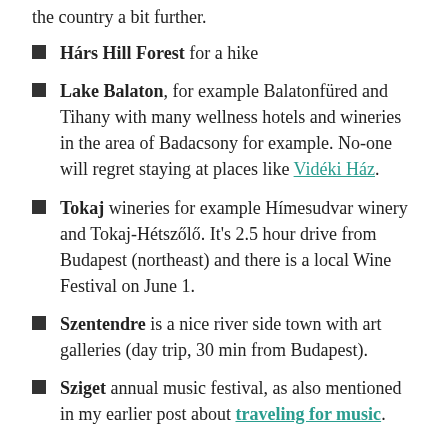the country a bit further.
Hárs Hill Forest for a hike
Lake Balaton, for example Balatonfüred and Tihany with many wellness hotels and wineries in the area of Badacsony for example. No-one will regret staying at places like Vidéki Ház.
Tokaj wineries for example Hímesudvar winery and Tokaj-Hétszőlő. It's 2.5 hour drive from Budapest (northeast) and there is a local Wine Festival on June 1.
Szentendre is a nice river side town with art galleries (day trip, 30 min from Budapest).
Sziget annual music festival, as also mentioned in my earlier post about traveling for music.